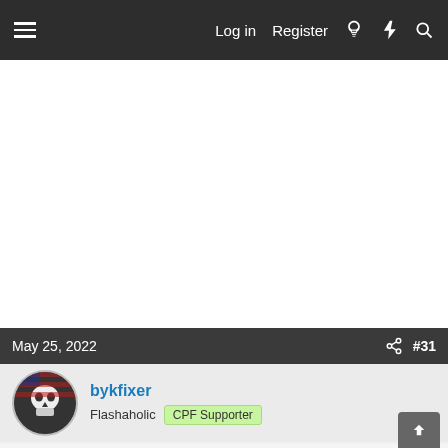Log in  Register
May 25, 2022  #31
bykfixer
Flashaholic  CPF Supporter
The Maglite site has bi-pins up to 6 cell for $8. It's a PR bi-pin conversion kit. They have the same spread as the